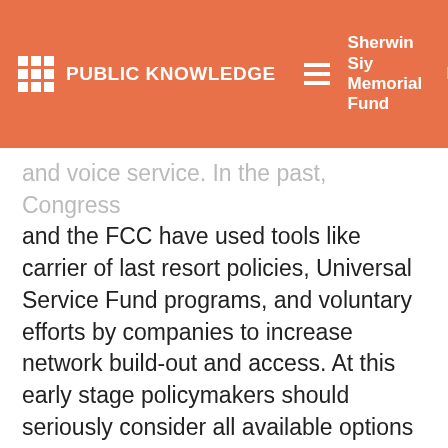PUBLIC KNOWLEDGE | Sherwin Siy Memorial Fund | Donate
and voice service. In the past, Congress and the FCC have used tools like carrier of last resort policies, Universal Service Fund programs, and voluntary efforts by companies to increase network build-out and access. At this early stage policymakers should seriously consider all available options to determine what approaches work best for new technologies.
The development of new voice and broadband access services hold great